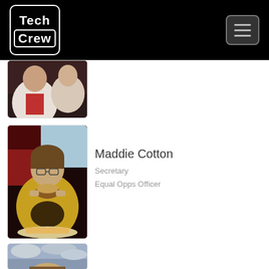[Figure (logo): Tech Crew logo in white text on black background with rounded border]
[Figure (other): Hamburger menu button with three horizontal lines]
[Figure (photo): Partial photo of a person in white and red shirt, partially cropped at top]
[Figure (photo): Photo of Maddie Cotton eating a burger in a yellow sweatshirt at a restaurant]
Maddie Cotton
Secretary
Equal Opps Officer
[Figure (photo): Partial photo of a person with a cloudy sky background, cropped at bottom of page]